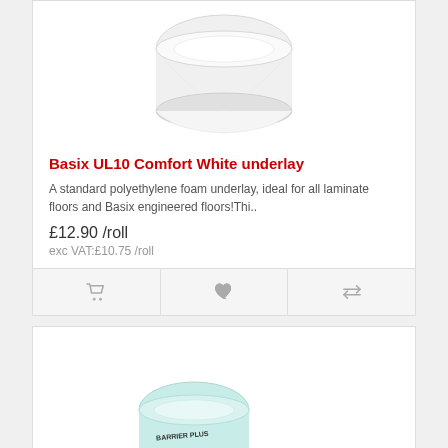[Figure (photo): White polyethylene foam underlay roll, partially unrolled, shown on white background]
Basix UL10 Comfort White underlay
A standard polyethylene foam underlay, ideal for all laminate floors and Basix engineered floors!Thi..
£12.90 /roll
exc VAT:£10.75 /roll
[Figure (photo): Light blue/mint coloured Barrier Plus underlay roll, partially unrolled, with 'BARRIER PLUS' text printed on it]